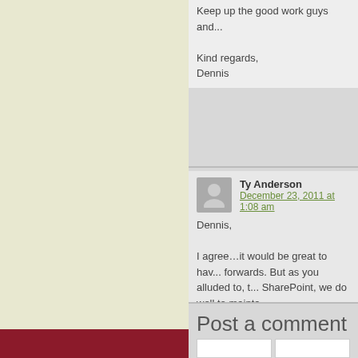Keep up the good work guys and...
Kind regards,
Dennis
Ty Anderson
December 23, 2011 at 1:08 am
Dennis,
I agree…it would be great to have... forwards. But as you alluded to, the SharePoint, we do well to mainta...
Thanks for the comment and I pr... device will be a MSFT-based tab...
Post a comment